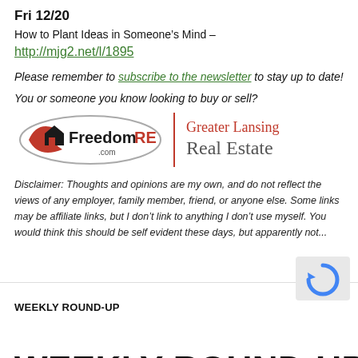Fri 12/20
How to Plant Ideas in Someone's Mind –
http://mjg2.net/l/1895
Please remember to subscribe to the newsletter to stay up to date!
You or someone you know looking to buy or sell?
[Figure (logo): FreedomRE.com logo with Greater Lansing Real Estate text]
Disclaimer: Thoughts and opinions are my own, and do not reflect the views of any employer, family member, friend, or anyone else. Some links may be affiliate links, but I don't link to anything I don't use myself. You would think this should be self evident these days, but apparently not...
WEEKLY ROUND-UP
WEEKLY ROUND-UP